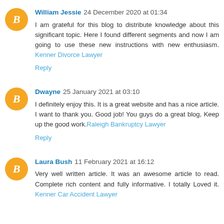William Jessie 24 December 2020 at 01:34
I am grateful for this blog to distribute knowledge about this significant topic. Here I found different segments and now I am going to use these new instructions with new enthusiasm. Kenner Divorce Lawyer
Reply
Dwayne 25 January 2021 at 03:10
I definitely enjoy this. It is a great website and has a nice article. I want to thank you. Good job! You guys do a great blog, Keep up the good work. Raleigh Bankruptcy Lawyer
Reply
Laura Bush 11 February 2021 at 16:12
Very well written article. It was an awesome article to read. Complete rich content and fully informative. I totally Loved it. Kenner Car Accident Lawyer